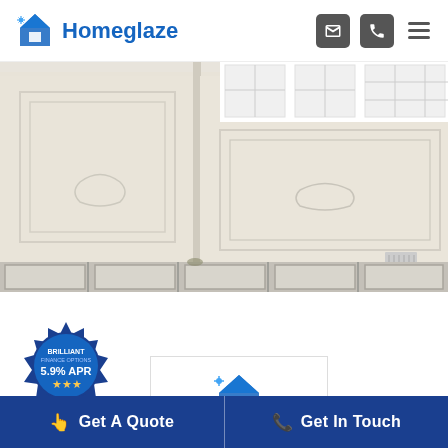Homeglaze
[Figure (photo): Front exterior of a house showing stucco/rendered wall with decorative panel details, white-framed windows, and a paved driveway with large gray stone slabs in a grid pattern.]
[Figure (other): Badge/seal graphic with text: BRILLIANT FINANCE OPTIONS, 5.9% APR, three stars]
[Figure (other): Homeglaze logo card (small white card with Homeglaze logo inside)]
Get A Quote
Get In Touch